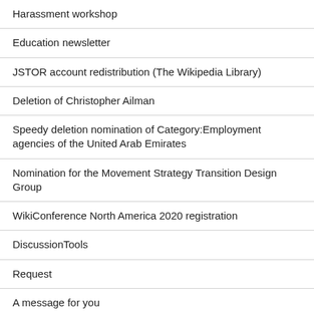Harassment workshop
Education newsletter
JSTOR account redistribution (The Wikipedia Library)
Deletion of Christopher Ailman
Speedy deletion nomination of Category:Employment agencies of the United Arab Emirates
Nomination for the Movement Strategy Transition Design Group
WikiConference North America 2020 registration
DiscussionTools
Request
A message for you